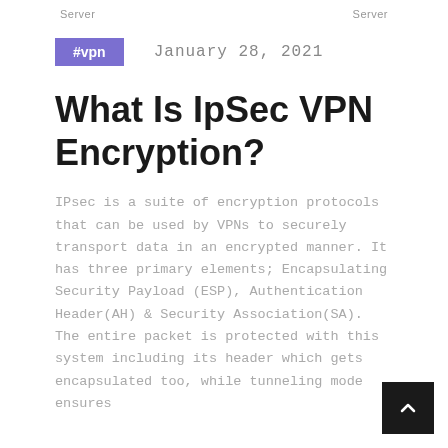Server    Server
#vpn    January 28, 2021
What Is IpSec VPN Encryption?
IPsec is a suite of encryption protocols that can be used by VPNs to securely transport data in an encrypted manner. It has three primary elements; Encapsulating Security Payload (ESP), Authentication Header(AH) & Security Association(SA). The entire packet is protected with this system including its header which gets encapsulated too, while tunneling mode ensures